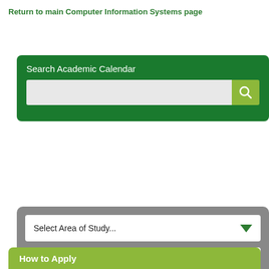Return to main Computer Information Systems page
[Figure (screenshot): Search Academic Calendar widget with a text input field and green search button]
[Figure (screenshot): Gray dropdown panel with three dropdown selectors: Select Area of Study, Select Courses, Select General Information]
How to Apply